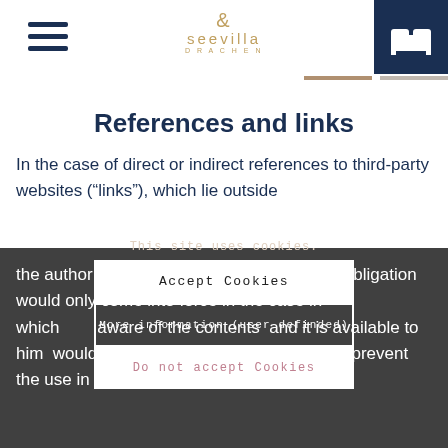[Figure (logo): Seevilla hotel logo with ampersand and text 'seevilla DRACHEN']
References and links
In the case of direct or indirect references to third-party websites (“links”), which lie outside the author’s area of responsibility, a liability obligation would only come into force in the case in which aware of the contents and it is available to him would be technically po me to prevent the use in the c nt. The author
This site uses cookies.
Accept Cookies
More information (user definded)
Do not accept Cookies